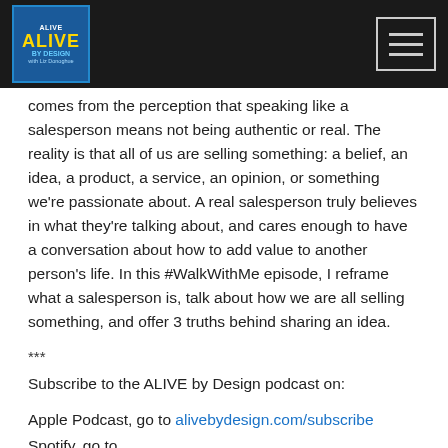ALIVE by Design podcast logo and navigation menu
comes from the perception that speaking like a salesperson means not being authentic or real. The reality is that all of us are selling something: a belief, an idea, a product, a service, an opinion, or something we're passionate about. A real salesperson truly believes in what they're talking about, and cares enough to have a conversation about how to add value to another person's life. In this #WalkWithMe episode, I reframe what a salesperson is, talk about how we are all selling something, and offer 3 truths behind sharing an idea.
***
Subscribe to the ALIVE by Design podcast on:
Apple Podcast, go to alivebydesign.com/subscribe
Spotify, go to https://open.spotify.com/show/2gG0ieyqxjhHksjDxTzMAK?si=ezwSYGPMSeaENrahG5VJ4Q&dl_branch=1